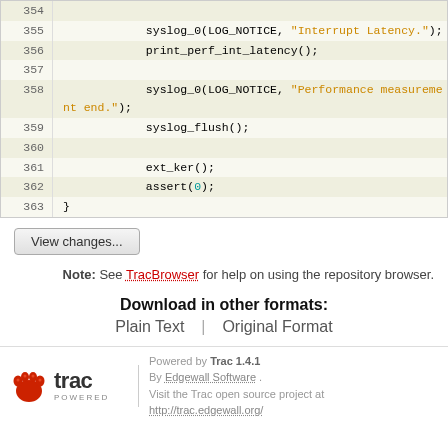[Figure (screenshot): Source code viewer showing lines 354-363 with syntax highlighting. Code includes syslog_0 calls with string literals in orange, print_perf_int_latency(), syslog_flush(), ext_ker(), assert(0), and closing brace.]
View changes...
Note: See TracBrowser for help on using the repository browser.
Download in other formats:
Plain Text | Original Format
Powered by Trac 1.4.1 By Edgewall Software. Visit the Trac open source project at http://trac.edgewall.org/